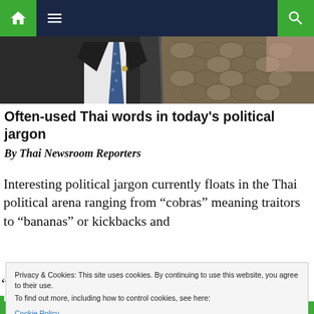Navigation bar with home, menu, and search icons
[Figure (photo): Hero image showing a man in a dark suit with a blue polka-dot tie on the left, and what appears to be a snake or scaled animal on the right]
Often-used Thai words in today's political jargon
By Thai Newsroom Reporters
Interesting political jargon currently floats in the Thai political arena ranging from “cobras” meaning traitors to “bananas” or kickbacks and
Privacy & Cookies: This site uses cookies. By continuing to use this website, you agree to their use.
To find out more, including how to control cookies, see here:
Cookie Policy
Close and accept